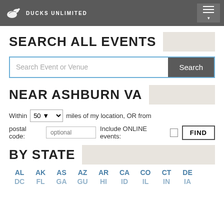Ducks Unlimited
SEARCH ALL EVENTS
Search Event or Venue
NEAR ASHBURN VA
Within 50 miles of my location, OR from
postal code: optional   Include ONLINE events:   FIND
BY STATE
AL  AK  AS  AZ  AR  CA  CO  CT  DE